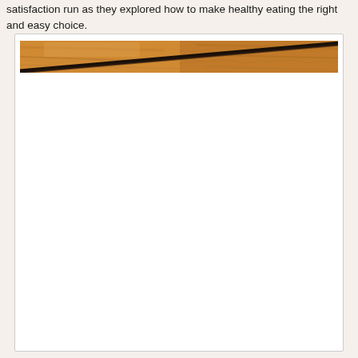satisfaction run as they explored how to make healthy eating the right and easy choice.
[Figure (photo): A close-up photo of wooden planks or a wooden surface with a dark diagonal line/edge running from lower left to upper right, showing warm brown wood grain tones.]